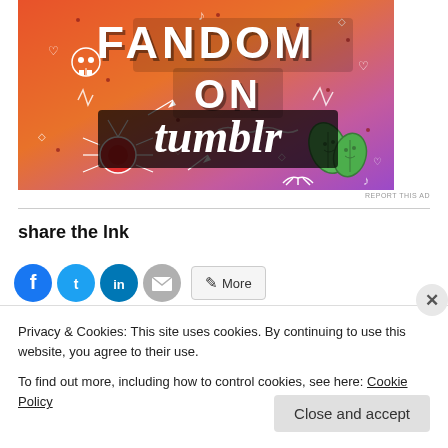[Figure (illustration): Colorful Tumblr 'Fandom on Tumblr' promotional banner with orange-to-purple gradient background, doodles of skull, spider, leaves, hearts, music notes, and bold text reading FANDOM ON tumblr]
REPORT THIS AD
share the lnk
[Figure (other): Social sharing icons row: Facebook (blue circle), Twitter (blue circle), LinkedIn (blue circle), Email (gray circle), and More button]
Privacy & Cookies: This site uses cookies. By continuing to use this website, you agree to their use.
To find out more, including how to control cookies, see here: Cookie Policy